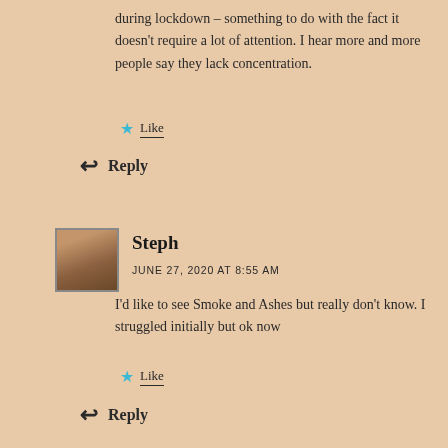during lockdown – something to do with the fact it doesn't require a lot of attention. I hear more and more people say they lack concentration.
Like
Reply
Steph
JUNE 27, 2020 AT 8:55 AM
I'd like to see Smoke and Ashes but really don't know. I struggled initially but ok now
Like
Reply